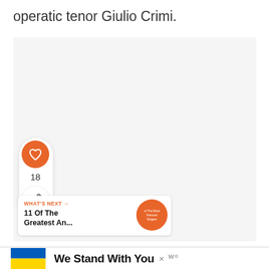operatic tenor Giulio Crimi.
[Figure (screenshot): Light gray content area box with social interaction buttons (heart/like button in orange circle, like count 18, share button) on the left side. A 'What's Next' recommendation card at bottom left showing '11 Of The Greatest An...' with an orange circular thumbnail. Bottom advertisement banner showing Ukrainian flag colors with text 'We Stand With You'.]
18
WHAT'S NEXT →
11 Of The Greatest An...
We Stand With You